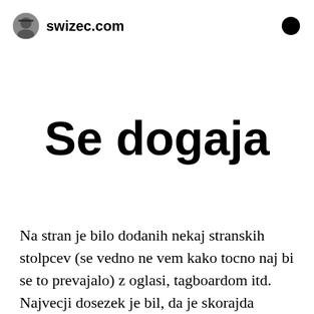swizec.com
Se dogaja
Na stran je bilo dodanih nekaj stranskih stolpcev (se vedno ne vem kako tocno naj bi se to prevajalo) z oglasi, tagboardom itd. Najvecji dosezek je bil, da je skorajda